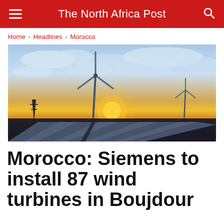The North Africa Post
Home > Headlines > Morocco
[Figure (photo): Wind turbines and solar panels at sunset with dramatic cloudy sky and orange/yellow horizon glow]
Morocco: Siemens to install 87 wind turbines in Boujdour